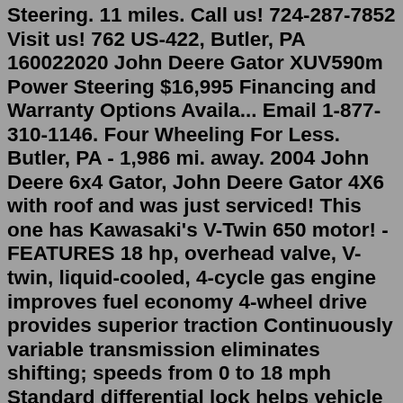Steering. 11 miles. Call us! 724-287-7852 Visit us! 762 US-422, Butler, PA 160022020 John Deere Gator XUV590m Power Steering $16,995 Financing and Warranty Options Availa... Email 1-877-310-1146. Four Wheeling For Less. Butler, PA - 1,986 mi. away. 2004 John Deere 6x4 Gator, John Deere Gator 4X6 with roof and was just serviced! This one has Kawasaki's V-Twin 650 motor! - FEATURES 18 hp, overhead valve, V-twin, liquid-cooled, 4-cycle gas engine improves fuel economy 4-wheel drive provides superior traction Continuously variable transmission eliminates shifting; speeds from 0 to 18 mph Standard differential lock helps vehicle pull through ... The engine height is 15.5" NOTE: THESE ENGINES LISTED WILL NOT FIT IN THE JOHN DEERE TRAIL GATOR, NOR THE TS GATOR, THEY ARE SETUP TOTALLY DIFFERENT THAN THE NORMAL 4X2 GATOR. If your 4X2 gator automatically engages the electric starter when you press on the gas pedal like a golf cart application please check out this link: John Deere Turf Gator Call